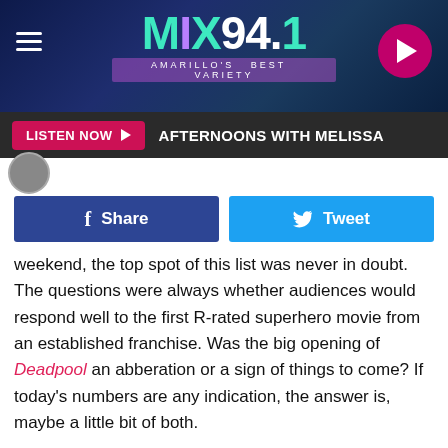MIX 94.1 — AMARILLO'S BEST VARIETY
LISTEN NOW ▶  AFTERNOONS WITH MELISSA
weekend, the top spot of this list was never in doubt. The questions were always whether audiences would respond well to the first R-rated superhero movie from an established franchise. Was the big opening of Deadpool an abberation or a sign of things to come? If today's numbers are any indication, the answer is, maybe a little bit of both.
| Film | Weekend | Per
Screen |  |
| --- | --- | --- | --- |
| 1.  Logan | $85,300,000 | $20,953 | $85,300,000 |
f  Share    Tweet